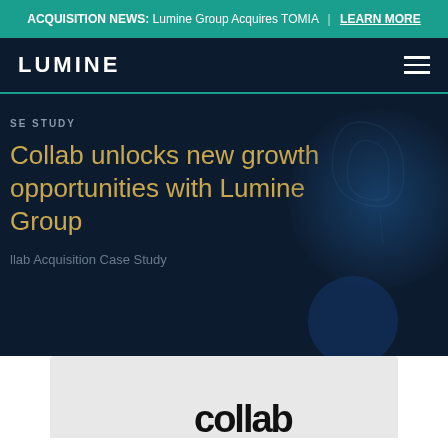ACQUISITION NEWS: Lumine Group Acquires TOMIA | LEARN MORE
LUMINE
SE STUDY
Collab unlocks new growth opportunities with Lumine Group
llab Acquisition Case Study
[Figure (logo): Collab company logo, partially visible at bottom of page]